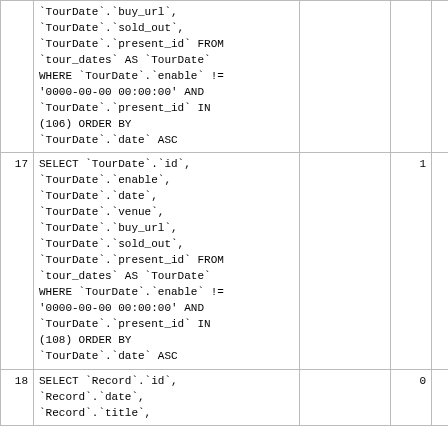| # | Query |  |  |  |  |
| --- | --- | --- | --- | --- | --- |
|  | `TourDate`.`buy_url`,
`TourDate`.`sold_out`,
`TourDate`.`present_id` FROM
`tour_dates` AS `TourDate`
WHERE `TourDate`.`enable` !=
'0000-00-00 00:00:00' AND
`TourDate`.`present_id` IN
(106) ORDER BY
`TourDate`.`date` ASC |  |  |  |  |
| 17 | SELECT `TourDate`.`id`,
`TourDate`.`enable`,
`TourDate`.`date`,
`TourDate`.`venue`,
`TourDate`.`buy_url`,
`TourDate`.`sold_out`,
`TourDate`.`present_id` FROM
`tour_dates` AS `TourDate`
WHERE `TourDate`.`enable` !=
'0000-00-00 00:00:00' AND
`TourDate`.`present_id` IN
(108) ORDER BY
`TourDate`.`date` ASC |  | 1 | 1 | 0 |
| 18 | SELECT `Record`.`id`,
`Record`.`date`,
`Record`.`title`, |  | 0 | 0 | 0 |